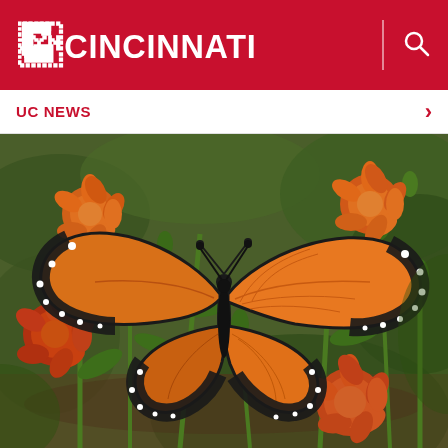UC CINCINNATI
UC NEWS
[Figure (photo): A monarch butterfly with orange and black wings perched among orange marigold flowers and green stems, photographed outdoors in a garden setting.]